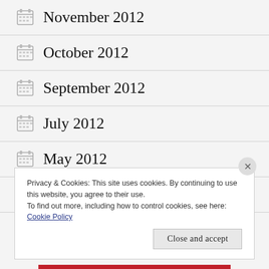November 2012
October 2012
September 2012
July 2012
May 2012
March 2012
Privacy & Cookies: This site uses cookies. By continuing to use this website, you agree to their use.
To find out more, including how to control cookies, see here: Cookie Policy
Close and accept